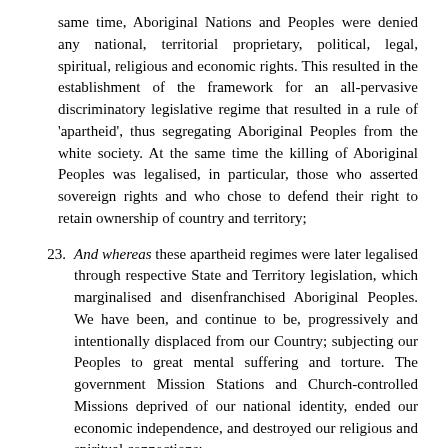same time, Aboriginal Nations and Peoples were denied any national, territorial proprietary, political, legal, spiritual, religious and economic rights. This resulted in the establishment of the framework for an all-pervasive discriminatory legislative regime that resulted in a rule of 'apartheid', thus segregating Aboriginal Peoples from the white society. At the same time the killing of Aboriginal Peoples was legalised, in particular, those who asserted sovereign rights and who chose to defend their right to retain ownership of country and territory;
23. And whereas these apartheid regimes were later legalised through respective State and Territory legislation, which marginalised and disenfranchised Aboriginal Peoples. We have been, and continue to be, progressively and intentionally displaced from our Country; subjecting our Peoples to great mental suffering and torture. The government Mission Stations and Church-controlled Missions deprived of our national identity, ended our economic independence, and destroyed our religious and spiritual connections;
24. And whereas our Peoples became enslaved to a welfare system under the guise of 'protection';
25. And whereas Aboriginal Peoples were denied freedom